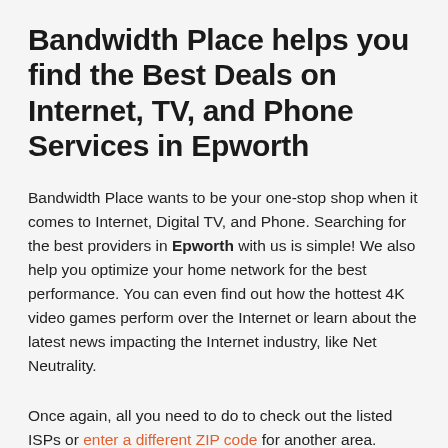Bandwidth Place helps you find the Best Deals on Internet, TV, and Phone Services in Epworth
Bandwidth Place wants to be your one-stop shop when it comes to Internet, Digital TV, and Phone. Searching for the best providers in Epworth with us is simple! We also help you optimize your home network for the best performance. You can even find out how the hottest 4K video games perform over the Internet or learn about the latest news impacting the Internet industry, like Net Neutrality.
Once again, all you need to do to check out the listed ISPs or enter a different ZIP code for another area. Testing your Internet speed is as simple as clicking one button, and